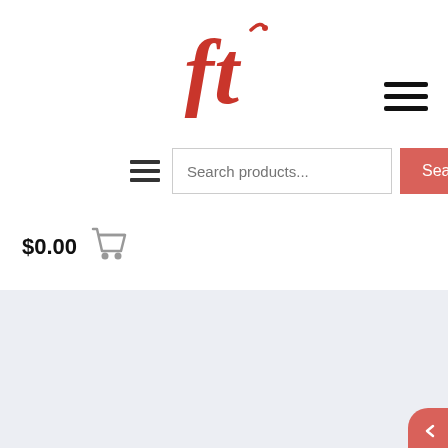[Figure (logo): Finish-Tackle logo: stylized red 'ft' letters with a fish hook, centered at top]
[Figure (other): Hamburger menu icon (3 horizontal lines) top right]
[Figure (other): Small hamburger menu icon and search bar with 'Search products...' placeholder and red 'Search' button]
$0.00
[Figure (other): Shopping cart icon in gray]
9am-10pm Sun-Thu
8am-12pm Fri
8pm-12am Sat
sales@finish-tackle.com
Shop
Customer Service
Finish-Tackle